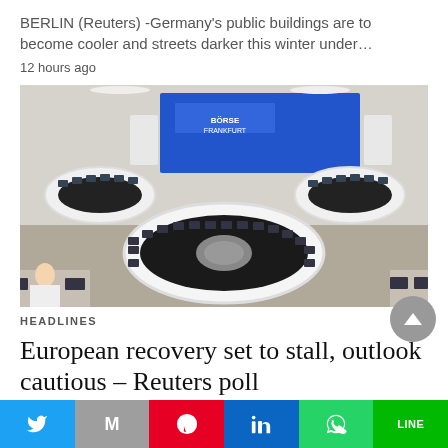BERLIN (Reuters) -Germany's public buildings are to become cooler and streets darker this winter under…
12 hours ago
[Figure (photo): Interior of the Frankfurt Stock Exchange (Börse Frankfurt) trading floor showing multiple curved trading desks with monitors arranged in a large modern hall with a large blue screen in the background.]
HEADLINES
European recovery set to stall, outlook cautious – Reuters poll
Share buttons: Twitter, Mail, Pinterest, LinkedIn, WhatsApp, Line